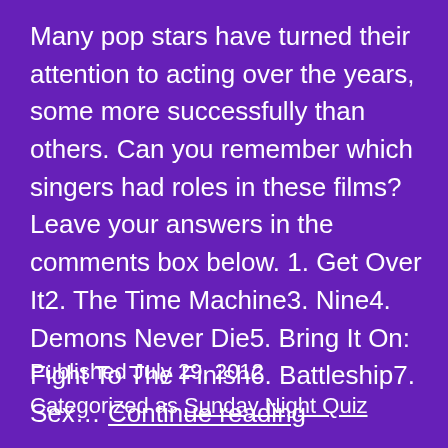Many pop stars have turned their attention to acting over the years, some more successfully than others. Can you remember which singers had roles in these films? Leave your answers in the comments box below. 1. Get Over It2. The Time Machine3. Nine4. Demons Never Die5. Bring It On: Fight To The Finish6. Battleship7. Sex… Continue reading
Published July 29, 2012
Categorized as Sunday Night Quiz